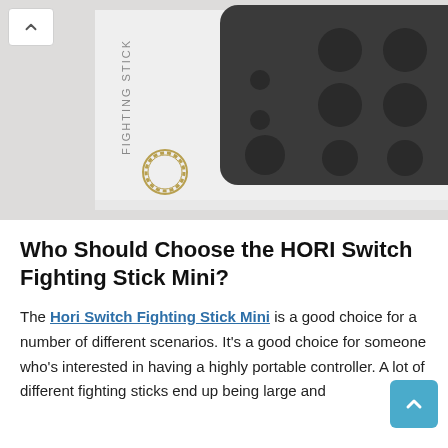[Figure (photo): Product box for the HORI Switch Fighting Stick Mini, showing the dark gray fighting stick controller on a white/light gray background with teal green accents on the right side. The HORI logo is visible on the box.]
Who Should Choose the HORI Switch Fighting Stick Mini?
The Hori Switch Fighting Stick Mini is a good choice for a number of different scenarios. It's a good choice for someone who's interested in having a highly portable controller. A lot of different fighting sticks end up being large and